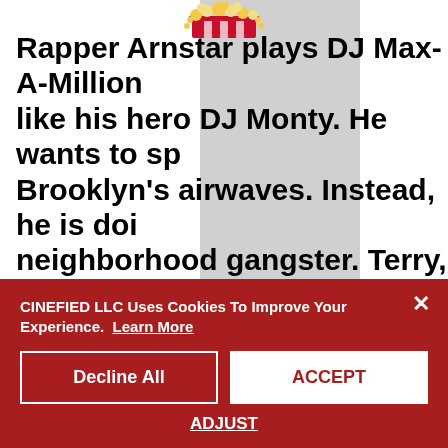[Figure (logo): Popcorn bucket logo with red and yellow colors at the top center of the page]
Rapper Arnstar plays DJ Max-A-Million like his hero DJ Monty. He wants to sp Brooklyn's airwaves. Instead, he is doi neighborhood gangster. Terry, Max's c year stint upstate. He attempts to sta includes their grandmother dealing wi make cash on those mean streets. Bo scores some gigs while Terry's tasks a
CINEFIED LLC Uses Cookies To Improve Your Experience.  Learn More
Decline All
ACCEPT
ADJUST